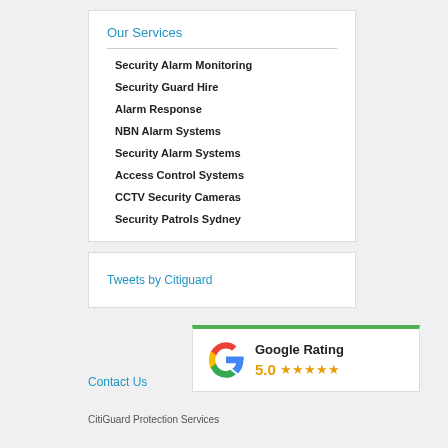Our Services
Security Alarm Monitoring
Security Guard Hire
Alarm Response
NBN Alarm Systems
Security Alarm Systems
Access Control Systems
CCTV Security Cameras
Security Patrols Sydney
Tweets by Citiguard
[Figure (infographic): Google Rating widget showing 5.0 stars with Google logo and green top border]
Contact Us
CitiGuard Protection Services